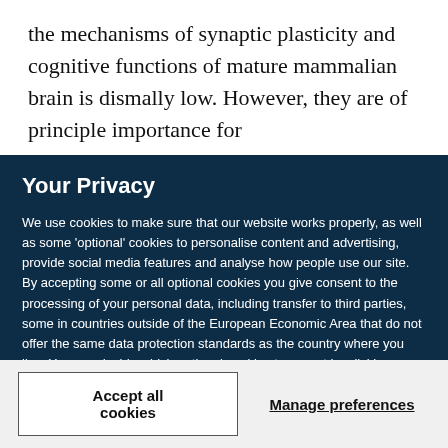the mechanisms of synaptic plasticity and cognitive functions of mature mammalian brain is dismally low. However, they are of principle importance for
Your Privacy
We use cookies to make sure that our website works properly, as well as some 'optional' cookies to personalise content and advertising, provide social media features and analyse how people use our site. By accepting some or all optional cookies you give consent to the processing of your personal data, including transfer to third parties, some in countries outside of the European Economic Area that do not offer the same data protection standards as the country where you live. You can decide which optional cookies to accept by clicking on 'Manage Settings', where you can also find more information about how your personal data is processed. Further information can be found in our privacy policy.
Accept all cookies
Manage preferences